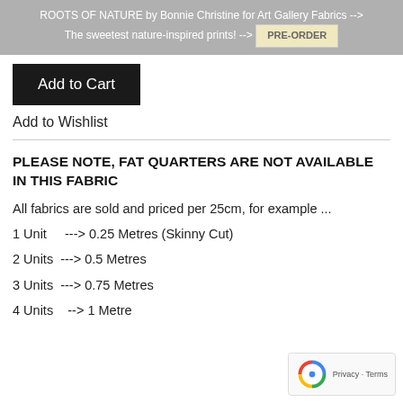ROOTS OF NATURE by Bonnie Christine for Art Gallery Fabrics --> The sweetest nature-inspired prints! --> PRE-ORDER
Add to Cart
Add to Wishlist
PLEASE NOTE, FAT QUARTERS ARE NOT AVAILABLE IN THIS FABRIC
All fabrics are sold and priced per 25cm, for example ...
1 Unit    ---> 0.25 Metres (Skinny Cut)
2 Units  ---> 0.5 Metres
3 Units  ---> 0.75 Metres
4 Units   --> 1 Metre